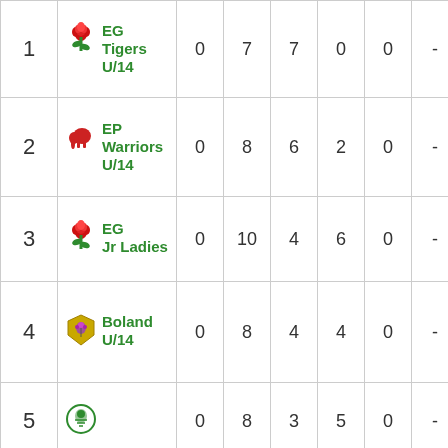| Pos | Team | Pts(Pen) | P | W | L | D | - | BP | ... |
| --- | --- | --- | --- | --- | --- | --- | --- | --- | --- |
| 1 | EG Tigers U/14 | 0 | 7 | 7 | 0 | 0 | - | 23 | 5... |
| 2 | EP Warriors U/14 | 0 | 8 | 6 | 2 | 0 | - | 18 | 4... |
| 3 | EG Jr Ladies | 0 | 10 | 4 | 6 | 0 | - | 20 | 3... |
| 4 | Boland U/14 | 0 | 8 | 4 | 4 | 0 | - | 14 | 3... |
| 5 | (logo) | 0 | 8 | 3 | 5 | 0 | - | 15 | 2... |